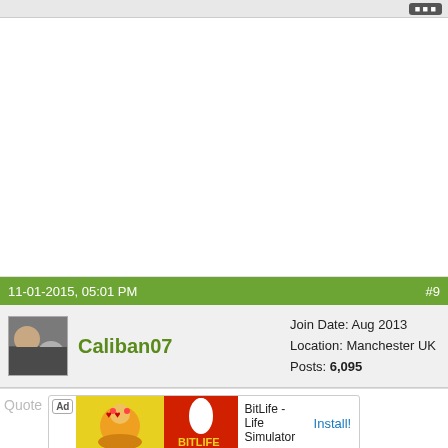11-01-2015, 05:01 PM  #9
Caliban07  Join Date: Aug 2013  Location: Manchester UK  Posts: 6,095
[Figure (screenshot): Forum advertisement bar showing BitLife - Life Simulator app ad with Install button]